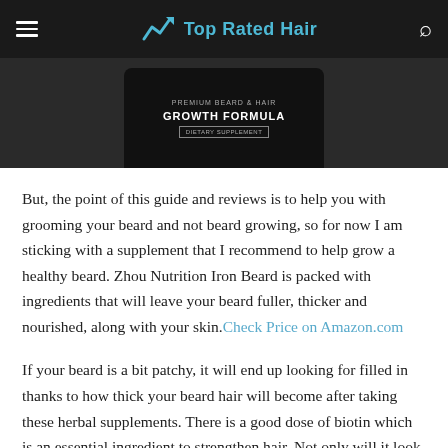Top Rated Hair
[Figure (photo): Product image of a black jar labeled 'Premium Beard & Hair Growth Formula - Dietary Supplement' on a dark background]
But, the point of this guide and reviews is to help you with grooming your beard and not beard growing, so for now I am sticking with a supplement that I recommend to help grow a healthy beard. Zhou Nutrition Iron Beard is packed with ingredients that will leave your beard fuller, thicker and nourished, along with your skin. Check Price on Amazon.com
If your beard is a bit patchy, it will end up looking for filled in thanks to how thick your beard hair will become after taking these herbal supplements. There is a good dose of biotin which is an essential ingredient to strengthen hair. Not only will it look fuller, but it will also look better since the hairs are